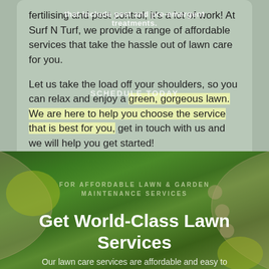fertilising and pest control, it's a lot of work! At Surf N Turf, we provide a range of affordable services that take the hassle out of lawn care for you.
that include pest and pre-emergent treatments.
Let us take the load off your shoulders, so you can relax and enjoy a green, gorgeous lawn. We are here to help you choose the service that is best for you, get in touch with us and we will help you get started!
SCHEDULE TODAY
FOR AFFORDABLE LAWN & GARDEN MAINTENANCE SERVICES
Get World-Class Lawn Services
Our lawn care services are affordable and easy to